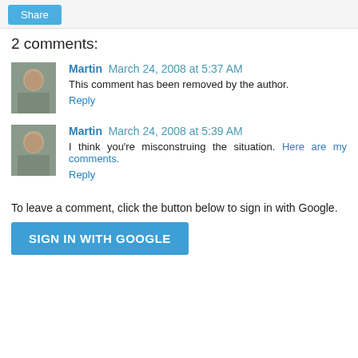Share
2 comments:
Martin March 24, 2008 at 5:37 AM
This comment has been removed by the author.
Reply
Martin March 24, 2008 at 5:39 AM
I think you're misconstruing the situation. Here are my comments.
Reply
To leave a comment, click the button below to sign in with Google.
SIGN IN WITH GOOGLE